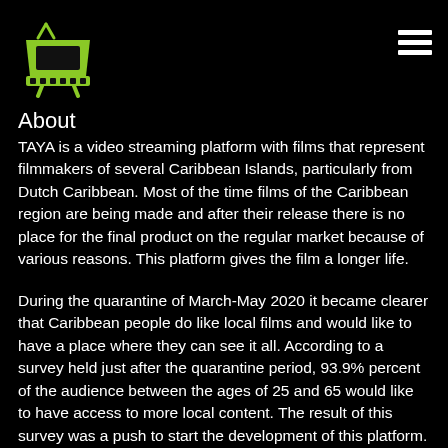[Figure (logo): Green retro TV logo icon with antenna on top and film strip on bottom]
About
TAYA is a video streaming platform with films that represent filmmakers of several Caribbean Islands, particularly from Dutch Caribbean. Most of the time films of the Caribbean region are being made and after their release there is no place for the final product on the regular market because of various reasons. This platform gives the film a longer life.
During the quarantine of March-May 2020 it became clearer that Caribbean people do like local films and would like to have a place where they can see it all. According to a survey held just after the quarantine period, 93.9% percent of the audience between the ages of 25 and 65 would like to have access to more local content. The result of this survey was a push to start the development of this platform.